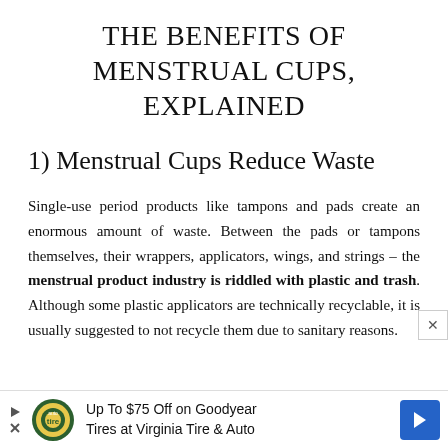THE BENEFITS OF MENSTRUAL CUPS, EXPLAINED
1) Menstrual Cups Reduce Waste
Single-use period products like tampons and pads create an enormous amount of waste. Between the pads or tampons themselves, their wrappers, applicators, wings, and strings – the menstrual product industry is riddled with plastic and trash. Although some plastic applicators are technically recyclable, it is usually suggested to not recycle them due to sanitary reasons.
[Figure (other): Advertisement banner: Up To $75 Off on Goodyear Tires at Virginia Tire & Auto, with tire auto logo and blue arrow icon]